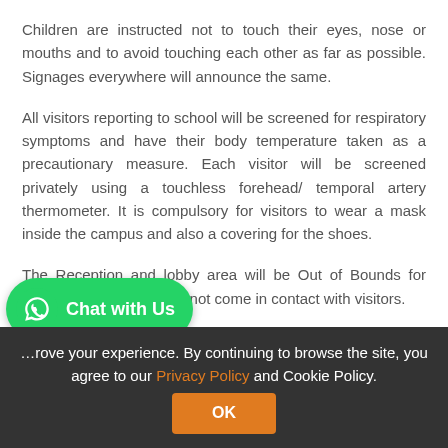Children are instructed not to touch their eyes, nose or mouths and to avoid touching each other as far as possible. Signages everywhere will announce the same.
All visitors reporting to school will be screened for respiratory symptoms and have their body temperature taken as a precautionary measure. Each visitor will be screened privately using a touchless forehead/ temporal artery thermometer. It is compulsory for visitors to wear a mask inside the campus and also a covering for the shoes.
The Reception and lobby area will be Out of Bounds for students so that they will not come in contact with visitors.
…rove your experience. By continuing to browse the site, you agree to our Privacy Policy and Cookie Policy.